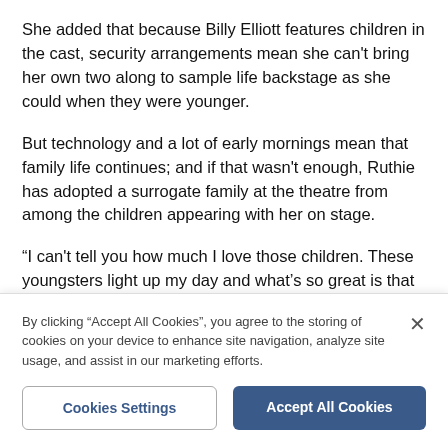She added that because Billy Elliott features children in the cast, security arrangements mean she can't bring her own two along to sample life backstage as she could when they were younger.
But technology and a lot of early mornings mean that family life continues; and if that wasn't enough, Ruthie has adopted a surrogate family at the theatre from among the children appearing with her on stage.
“I can't tell you how much I love those children. These youngsters light up my day and what's so great is that you have a different Billy every single night, so the
By clicking “Accept All Cookies”, you agree to the storing of cookies on your device to enhance site navigation, analyze site usage, and assist in our marketing efforts.
Cookies Settings
Accept All Cookies